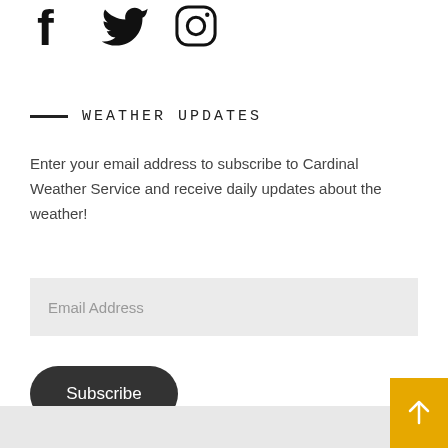[Figure (logo): Social media icons: Facebook, Twitter, Instagram]
WEATHER UPDATES
Enter your email address to subscribe to Cardinal Weather Service and receive daily updates about the weather!
Email Address
Subscribe